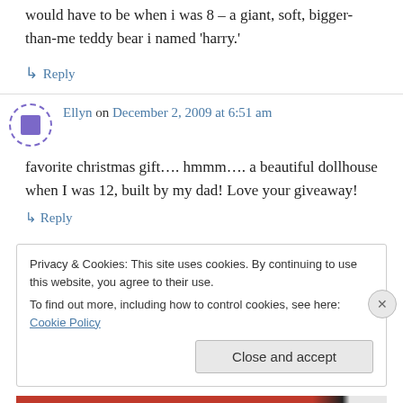would have to be when i was 8 – a giant, soft, bigger-than-me teddy bear i named 'harry.'
↳ Reply
Ellyn on December 2, 2009 at 6:51 am
favorite christmas gift…. hmmm…. a beautiful dollhouse when I was 12, built by my dad! Love your giveaway!
↳ Reply
Privacy & Cookies: This site uses cookies. By continuing to use this website, you agree to their use. To find out more, including how to control cookies, see here: Cookie Policy
Close and accept